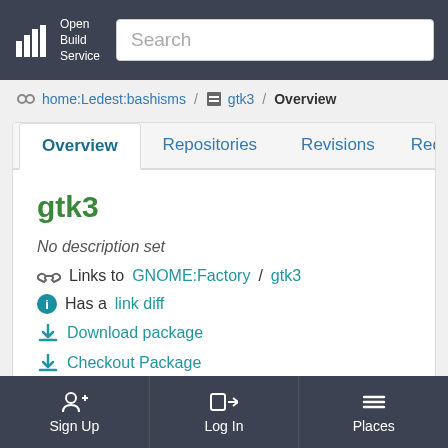Open Build Service — Search bar
home:Ledest:bashisms / gtk3 / Overview
Overview | Repositories | Revisions | Reque
gtk3
No description set
Links to GNOME:Factory / gtk3
Has a link diff
Download package
Checkout Package
Sign Up | Log In | Places